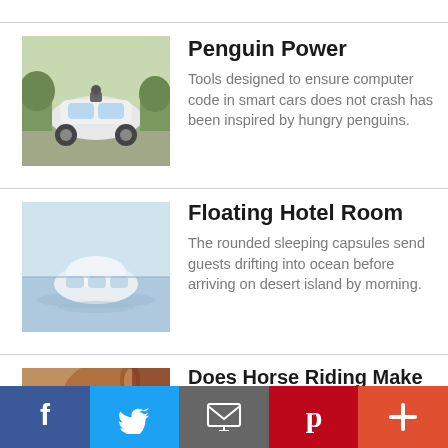[Figure (photo): Self-driving car (Google-style autonomous vehicle) on road]
Penguin Power
Tools designed to ensure computer code in smart cars does not crash has been inspired by hungry penguins.
[Figure (photo): Floating rounded pod/capsule on calm water]
Floating Hotel Room
The rounded sleeping capsules send guests drifting into ocean before arriving on desert island by morning.
[Figure (photo): Close-up of a brown horse's face and nose]
Does Horse Riding Make You Smarter?
Sitting on the saddle activates the part of the brain responsible for learning, a study has
f  [Twitter bird]  [envelope]  p  +